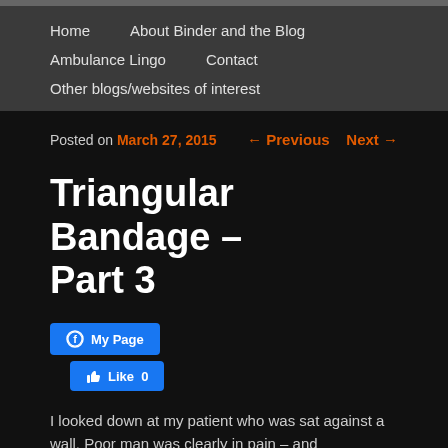Home    About Binder and the Blog    Ambulance Lingo    Contact    Other blogs/websites of interest
Posted on March 27, 2015
← Previous   Next →
Triangular Bandage – Part 3
[Figure (other): Facebook My Page and Like buttons]
I looked down at my patient who was sat against a wall. Poor man was clearly in pain – and understandably so, after all, he'd just had his elbow clipped by a moving...